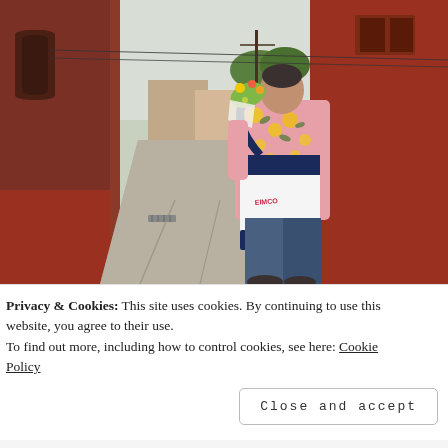[Figure (photo): A man wearing a pink floral (lemon print) short-sleeve shirt and carrying a navy and white tote bag walks down a brick-lined alley, holding a bouquet of flowers. Brick buildings line both sides of the alley on an overcast day.]
Privacy & Cookies: This site uses cookies. By continuing to use this website, you agree to their use.
To find out more, including how to control cookies, see here: Cookie Policy
Close and accept